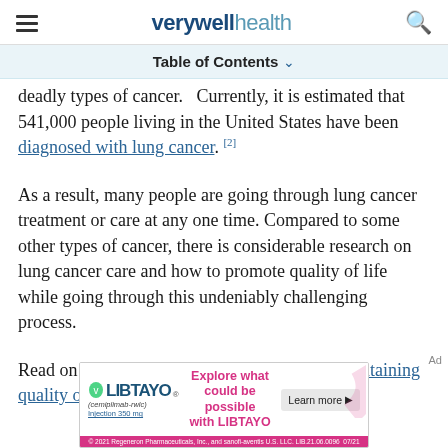verywell health
Table of Contents
deadly types of cancer. Currently, it is estimated that 541,000 people living in the United States have been diagnosed with lung cancer. [2]
As a result, many people are going through lung cancer treatment or care at any one time. Compared to some other types of cancer, there is considerable research on lung cancer care and how to promote quality of life while going through this undeniably challenging process.
Read on to learn more about techniques for maintaining quality of life while going through
[Figure (other): LIBTAYO advertisement banner: Explore what could be possible with LIBTAYO. Learn more. 2021 Regeneron Pharmaceuticals, Inc., and sanofi-aventis U.S. LLC. LIB.21.06.0096 07/21]